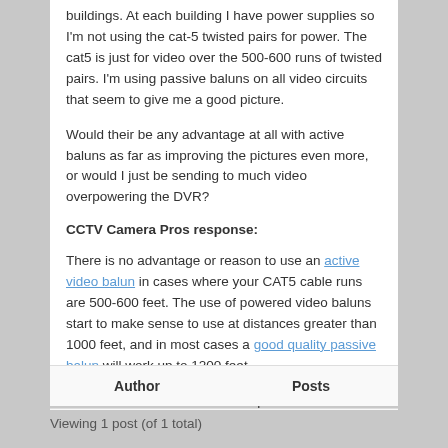buildings. At each building I have power supplies so I'm not using the cat-5 twisted pairs for power. The cat5 is just for video over the 500-600 runs of twisted pairs. I'm using passive baluns on all video circuits that seem to give me a good picture.
Would their be any advantage at all with active baluns as far as improving the pictures even more, or would I just be sending to much video overpowering the DVR?
CCTV Camera Pros response:
There is no advantage or reason to use an active video balun in cases where your CAT5 cable runs are 500-600 feet. The use of powered video baluns start to make sense to use at distances greater than 1000 feet, and in most cases a good quality passive balun will work up to 1200 feet.
Please let us know if we can help further.
| Author | Posts |
| --- | --- |
Viewing 1 post (of 1 total)